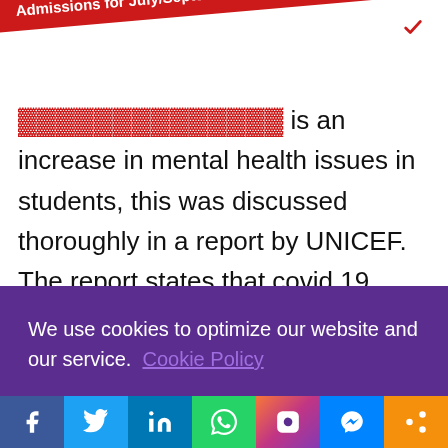[Figure (infographic): Red diagonal banner: 'Admissions for July/September 2022 is currently on-going Apply Today' with a white checkbox icon]
... is an increase in mental health issues in students, this was discussed thoroughly in a report by UNICEF. The report states that covid 19 lockdown and restrictions have disrupted the mental health of the students who have had to stay at home during enforced Covid 19 lockdown and restrictions...
We use cookies to optimize our website and our service.  Cookie Policy
[Figure (infographic): Social media share bar with icons: Facebook, Twitter, LinkedIn, WhatsApp, Instagram, Messenger, Share]